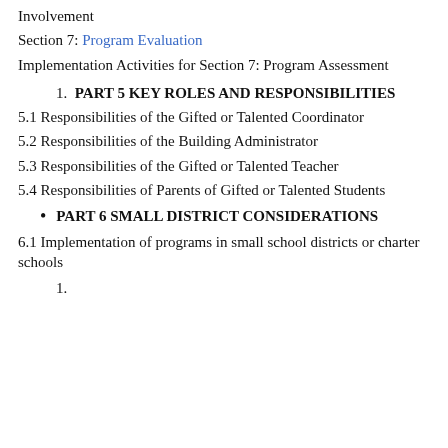Involvement
Section 7: Program Evaluation
Implementation Activities for Section 7: Program Assessment
1. PART 5 KEY ROLES AND RESPONSIBILITIES
5.1 Responsibilities of the Gifted or Talented Coordinator
5.2 Responsibilities of the Building Administrator
5.3 Responsibilities of the Gifted or Talented Teacher
5.4 Responsibilities of Parents of Gifted or Talented Students
PART 6 SMALL DISTRICT CONSIDERATIONS
6.1 Implementation of programs in small school districts or charter schools
1.